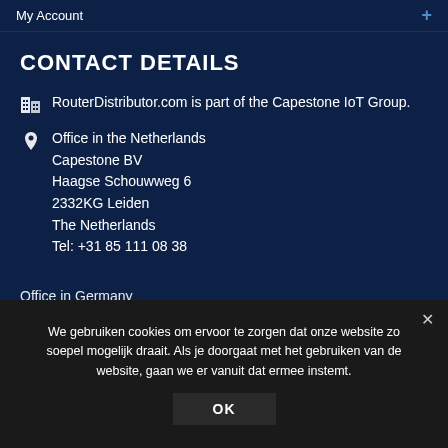My Account
CONTACT DETAILS
RouterDistributor.com is part of the Capestone IoT Group.
Office in the Netherlands
Capestone BV
Haagse Schouwweg 6
2332KG Leiden
The Netherlands
Tel: +31 85 111 08 38
Office in Germany
We gebruiken cookies om ervoor te zorgen dat onze website zo soepel mogelijk draait. Als je doorgaat met het gebruiken van de website, gaan we er vanuit dat ermee instemt.
OK